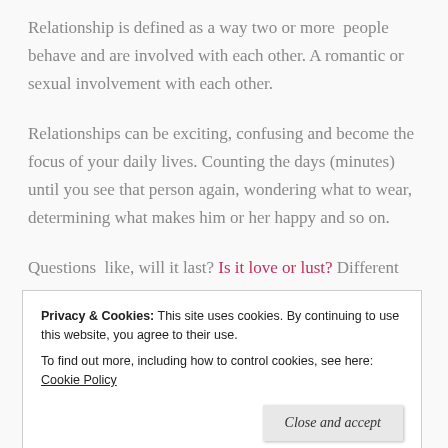Relationship is defined as a way two or more people behave and are involved with each other. A romantic or sexual involvement with each other.
Relationships can be exciting, confusing and become the focus of your daily lives. Counting the days (minutes) until you see that person again, wondering what to wear, determining what makes him or her happy and so on.
Questions  like, will it last? Is it love or lust? Different
Privacy & Cookies: This site uses cookies. By continuing to use this website, you agree to their use.
To find out more, including how to control cookies, see here: Cookie Policy
Close and accept
relationship, requires you to be emotionally matured.